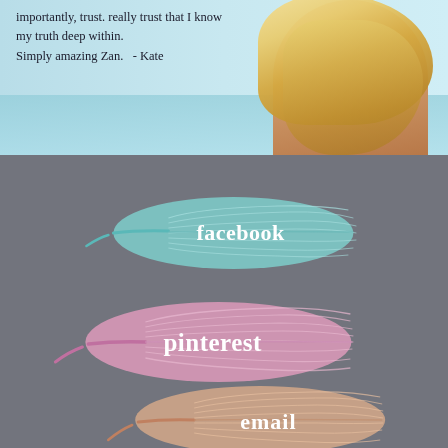[Figure (photo): Top banner showing a woman with long blonde hair, back facing, over a blue water/sky background, with a handwritten quote: 'importantly, trust. really trust that I know my truth deep within. Simply amazing Zan.' - Kate]
[Figure (illustration): Teal/mint colored feather illustration with the word 'facebook' written in white serif text on it]
[Figure (illustration): Pink colored feather illustration with the word 'pinterest' written in white serif text on it]
[Figure (illustration): Peach/tan colored feather illustration with the word 'email' written in white serif text on it]